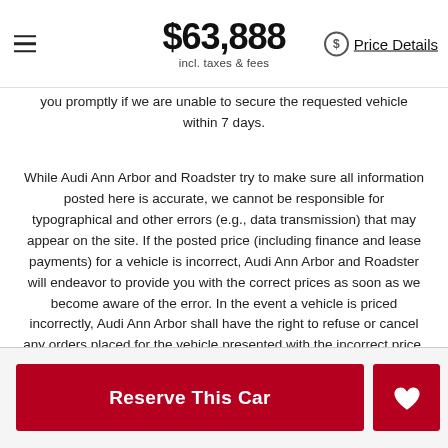$63,888 incl. taxes & fees  Price Details
you promptly if we are unable to secure the requested vehicle within 7 days.
While Audi Ann Arbor and Roadster try to make sure all information posted here is accurate, we cannot be responsible for typographical and other errors (e.g., data transmission) that may appear on the site. If the posted price (including finance and lease payments) for a vehicle is incorrect, Audi Ann Arbor and Roadster will endeavor to provide you with the correct prices as soon as we become aware of the error. In the event a vehicle is priced incorrectly, Audi Ann Arbor shall have the right to refuse or cancel any orders placed for the vehicle presented with the incorrect price. In addition, vehicle prices are subject to change and all vehicles are subject to prior sale and may not be available when you are ready to purchase.